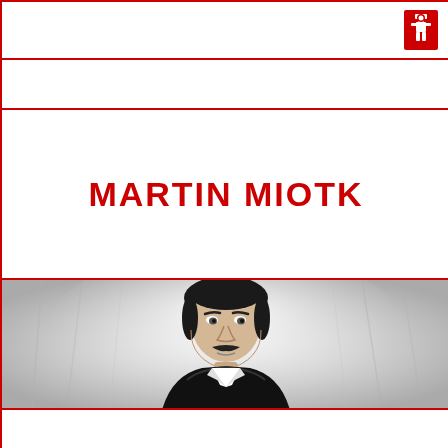[Figure (logo): Red shield/crest logo icon in top right corner]
MARTIN MIOTK
[Figure (photo): Black and white portrait photo of a man with dark hair and mustache, wearing a dark jacket, against a light curtain background]